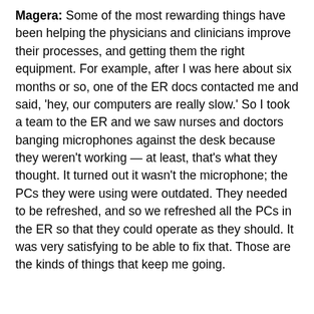Magera: Some of the most rewarding things have been helping the physicians and clinicians improve their processes, and getting them the right equipment. For example, after I was here about six months or so, one of the ER docs contacted me and said, 'hey, our computers are really slow.' So I took a team to the ER and we saw nurses and doctors banging microphones against the desk because they weren't working — at least, that's what they thought. It turned out it wasn't the microphone; the PCs they were using were outdated. They needed to be refreshed, and so we refreshed all the PCs in the ER so that they could operate as they should. It was very satisfying to be able to fix that. Those are the kinds of things that keep me going.
Gamble: I'm sure. Well, I want to thank you so much for taking some time to share your story. Renown is doing some